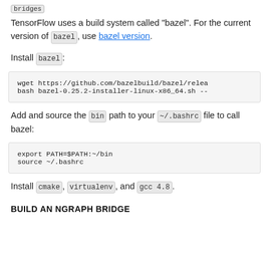bridges
TensorFlow uses a build system called "bazel". For the current version of bazel, use bazel version.
Install bazel:
[Figure (screenshot): Code block showing: wget https://github.com/bazelbuild/bazel/relea
bash bazel-0.25.2-installer-linux-x86_64.sh --]
Add and source the bin path to your ~/.bashrc file to call bazel:
[Figure (screenshot): Code block showing: export PATH=$PATH:~/bin
source ~/.bashrc]
Install cmake, virtualenv, and gcc 4.8.
BUILD AN NGRAPH BRIDGE